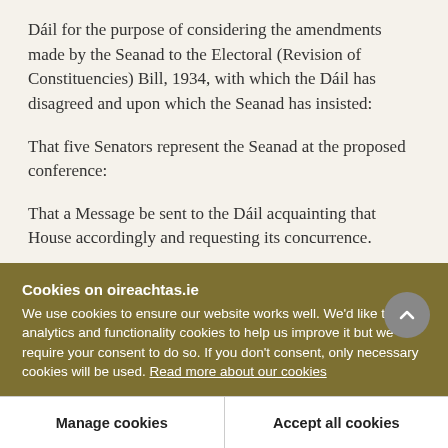Dáil for the purpose of considering the amendments made by the Seanad to the Electoral (Revision of Constituencies) Bill, 1934, with which the Dáil has disagreed and upon which the Seanad has insisted:
That five Senators represent the Seanad at the proposed conference:
That a Message be sent to the Dáil acquainting that House accordingly and requesting its concurrence.
Cookies on oireachtas.ie
We use cookies to ensure our website works well. We'd like to use analytics and functionality cookies to help us improve it but we require your consent to do so. If you don't consent, only necessary cookies will be used. Read more about our cookies
Manage cookies
Accept all cookies